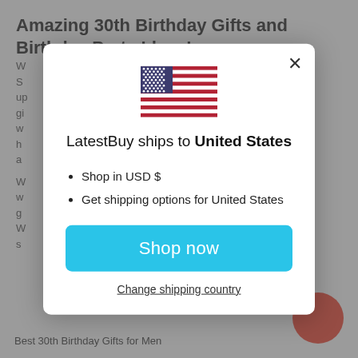Amazing 30th Birthday Gifts and Birthday Party Ideas!
W...
S... up... gi... w... h... a...
W... w... g... W... s...
[Figure (illustration): US flag icon centered in modal]
LatestBuy ships to United States
Shop in USD $
Get shipping options for United States
Shop now
Change shipping country
Best 30th Birthday Gifts for Men